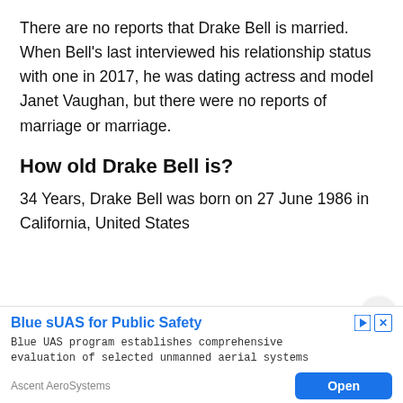There are no reports that Drake Bell is married. When Bell’s last interviewed his relationship status with one in 2017, he was dating actress and model Janet Vaughan, but there were no reports of marriage or marriage.
How old Drake Bell is?
34 Years, Drake Bell was born on 27 June 1986 in California, United States
[Figure (screenshot): Advertisement banner for Blue sUAS for Public Safety by Ascent AeroSystems with an Open button]